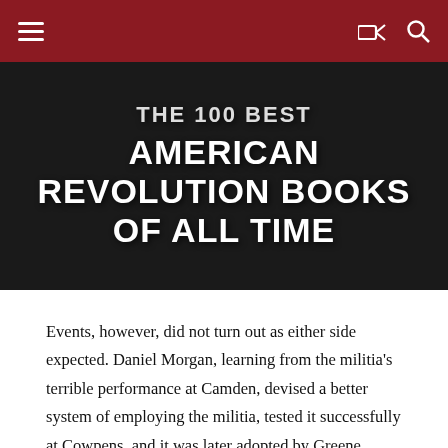≡   ⬆ 🔍
[Figure (illustration): Dark banner image with bold white text reading 'THE 100 BEST AMERICAN REVOLUTION BOOKS OF ALL TIME']
Events, however, did not turn out as either side expected. Daniel Morgan, learning from the militia's terrible performance at Camden, devised a better system of employing the militia, tested it successfully at Cowpens, and it was later adopted by Greene. Cornwallis was confirmed in his belief that the war could be won by British and provincial troops alone, and that the best tactical plan was a frontal assault. This led him to neglect the Loyalist militia, contributing to its near annihilation at Kings Mountain in October 1780. Cornwallis again resorted to a frontal assault at Guilford Courthouse in March 1781. It worked, as he